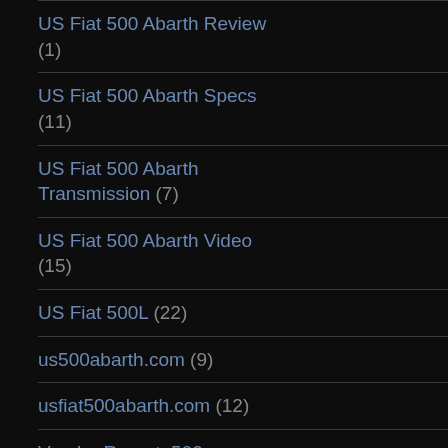US Fiat 500 Abarth Review (1)
US Fiat 500 Abarth Specs (11)
US Fiat 500 Abarth Transmission (7)
US Fiat 500 Abarth Video (15)
US Fiat 500L (22)
us500abarth.com (9)
usfiat500abarth.com (12)
Vendor Report: 500 Madness (5)
Vendor Reports (3)
Vendors (5)
Walkthrough (1)